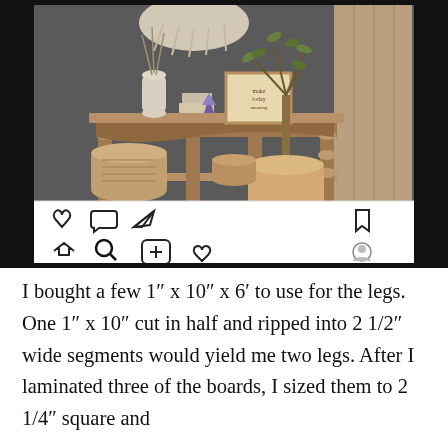[Figure (photo): Instagram screenshot showing a rustic farmhouse-style wooden console table with turned legs and a lower shelf, decorated with vases, a woven basket, potted olive tree, macramé wall hanging, and various boho decor items. Below the photo are Instagram UI icons (heart, comment, share, bookmark on top row; home, search, plus, heart, profile on bottom row).]
I bought a few 1" x 10" x 6' to use for the legs. One 1" x 10" cut in half and ripped into 2 1/2" wide segments would yield me two legs. After I laminated three of the boards, I sized them to 2 1/4" square and